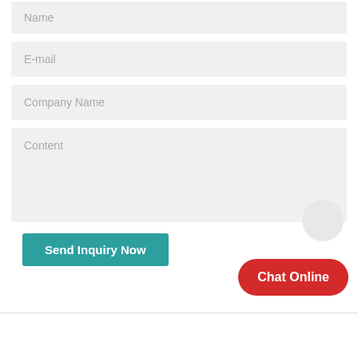Name
E-mail
Company Name
Content
Send Inquiry Now
Chat Online